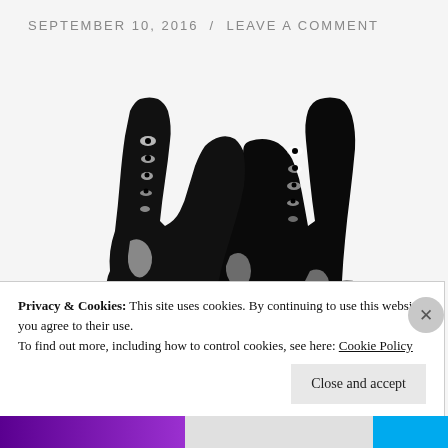SEPTEMBER 10, 2016  /  LEAVE A COMMENT
[Figure (illustration): High contrast black and white illustration of a pair of combat/military boots, facing forward, with laces visible. The image is rendered in stark black and white with high contrast ink-print style.]
Privacy & Cookies: This site uses cookies. By continuing to use this website, you agree to their use.
To find out more, including how to control cookies, see here: Cookie Policy
Close and accept